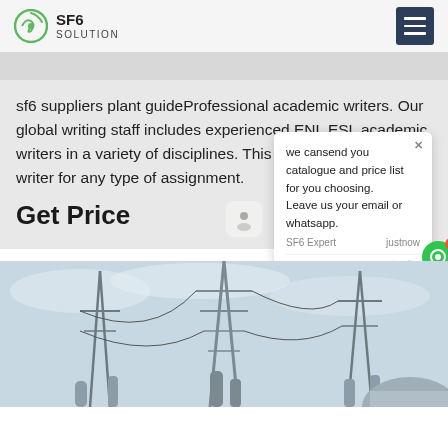SF6 SOLUTION
sf6 suppliers plant guideProfessional academic writers. Our global writing staff includes experienced ENL ESL academic writers in a variety of disciplines. This lets us find the most appropriate writer for any type of assignment.
Get Price
we cansend you catalogue and price list for you choosing.
Leave us your email or whatsapp.

SF6 Expert   justnow
Write
[Figure (photo): Electrical substation with high voltage towers, insulators, and metal framework against a light cloudy sky]